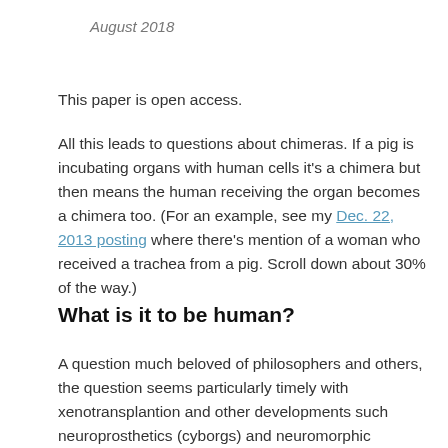August 2018
This paper is open access.
All this leads to questions about chimeras. If a pig is incubating organs with human cells it's a chimera but then means the human receiving the organ becomes a chimera too. (For an example, see my Dec. 22, 2013 posting where there's mention of a woman who received a trachea from a pig. Scroll down about 30% of the way.)
What is it to be human?
A question much beloved of philosophers and others, the question seems particularly timely with xenotransplantion and other developments such neuroprosthetics (cyborgs) and neuromorphic computing (brainlike computing).